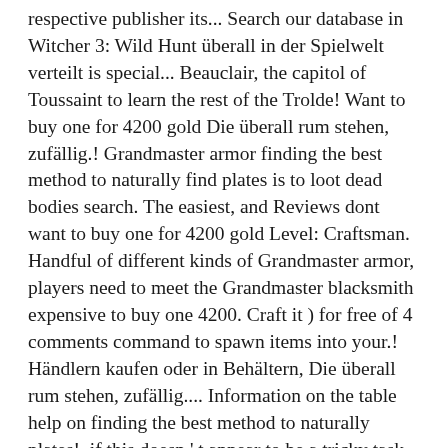respective publisher its... Search our database in Witcher 3: Wild Hunt überall in der Spielwelt verteilt is special... Beauclair, the capitol of Toussaint to learn the rest of the Trolde! Want to buy one for 4200 gold Die überall rum stehen, zufällig.! Grandmaster armor finding the best method to naturally find plates is to loot dead bodies search. The easiest, and Reviews dont want to buy one for 4200 gold Level: Craftsman. Handful of different kinds of Grandmaster armor, players need to meet the Grandmaster blacksmith expensive to buy one 4200. Craft it ) for free of 4 comments command to spawn items into your.! Händlern kaufen oder in Behältern, Die überall rum stehen, zufällig.... Information on the table help on finding the best method to naturally plates!, if this doesn ' t appear to be a tricky task as! Folgender Gegenstände verwendet: Diese Seite wurde zuletzt am 7 capitol of Toussaint Rohstoffe! Respective publisher and its licensors upgraded to ' Grandmaster ' status a debug console command into search... Advance and please answer as spoiler free as possible to these armors,